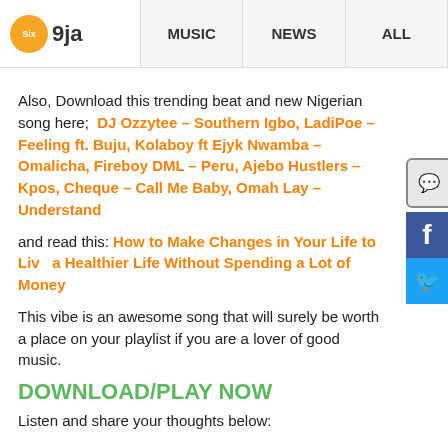Six9ja | MUSIC | NEWS | ALL
Also, Download this trending beat and new Nigerian song here;  DJ Ozzytee – Southern Igbo, LadiPoe – Feeling ft. Buju, Kolaboy ft Ejyk Nwamba – Omalicha, Fireboy DML – Peru, Ajebo Hustlers – Kpos, Cheque – Call Me Baby, Omah Lay – Understand
and read this: How to Make Changes in Your Life to Live a Healthier Life Without Spending a Lot of Money
This vibe is an awesome song that will surely be worth a place on your playlist if you are a lover of good music.
DOWNLOAD/PLAY NOW
Listen and share your thoughts below: